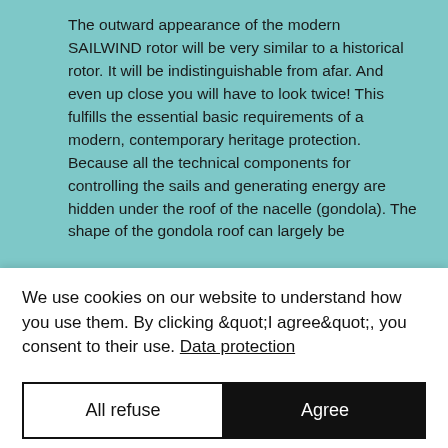The outward appearance of the modern SAILWIND rotor will be very similar to a historical rotor. It will be indistinguishable from afar. And even up close you will have to look twice! This fulfills the essential basic requirements of a modern, contemporary heritage protection. Because all the technical components for controlling the sails and generating energy are hidden under the roof of the nacelle (gondola). The shape of the gondola roof can largely be
We use cookies on our website to understand how you use them. By clicking "I agree", you consent to their use. Data protection
All refuse
Agree
settings